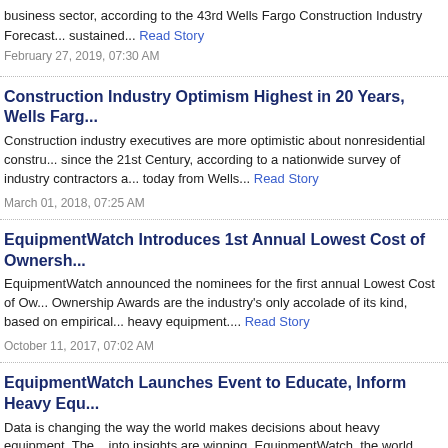business sector, according to the 43rd Wells Fargo Construction Industry Forecast... sustained... Read Story
February 27, 2019, 07:30 AM
Construction Industry Optimism Highest in 20 Years, Wells Fargo...
Construction industry executives are more optimistic about nonresidential construction since the 21st Century, according to a nationwide survey of industry contractors and... today from Wells... Read Story
March 01, 2018, 07:25 AM
EquipmentWatch Introduces 1st Annual Lowest Cost of Ownership...
EquipmentWatch announced the nominees for the first annual Lowest Cost of Ownership Awards are the industry's only accolade of its kind, based on empirical... heavy equipment.... Read Story
October 11, 2017, 07:02 AM
EquipmentWatch Launches Event to Educate, Inform Heavy Equipment...
Data is changing the way the world makes decisions about heavy equipment. The... into insights are winning. EquipmentWatch, the world leader in data, software and... industry, launched... Read Story
August 30, 2017, 07:04 AM